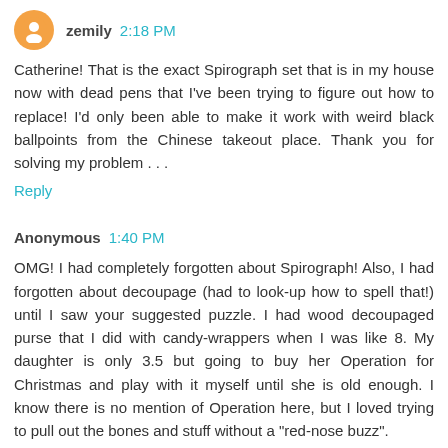zemily 2:18 PM
Catherine! That is the exact Spirograph set that is in my house now with dead pens that I've been trying to figure out how to replace! I'd only been able to make it work with weird black ballpoints from the Chinese takeout place. Thank you for solving my problem . . .
Reply
Anonymous 1:40 PM
OMG! I had completely forgotten about Spirograph! Also, I had forgotten about decoupage (had to look-up how to spell that!) until I saw your suggested puzzle. I had wood decoupaged purse that I did with candy-wrappers when I was like 8. My daughter is only 3.5 but going to buy her Operation for Christmas and play with it myself until she is old enough. I know there is no mention of Operation here, but I loved trying to pull out the bones and stuff without a "red-nose buzz".
Reply